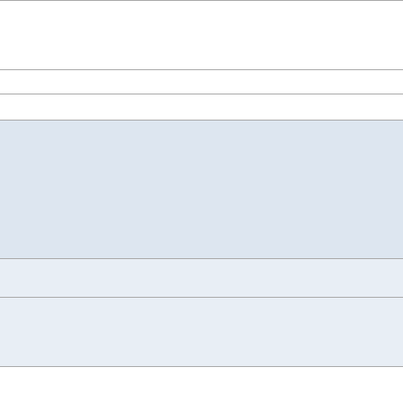| Field | Value |
| --- | --- |
| comment | More info about the pythia fort switches: PYTHIA 6.4 Physics 9.3 The General Switches and 201 ~ P 225) |
| ID | 2-10 |
| Reason | No reflex dictionary info for the classes:
pair<T1DetId,vector<T1Cluste
pair<T1DetId,vector<T1DigiVf
pair<T1DetId,vector<T1DigiWi
pair<T2DetId,vector<T2PadDig
pair<T2DetId,vector<T2StripD
pair<T2DetId,vector<T2Cluste |
| Change | Add reflex info for the target cla corresponding files: |
| Sources | DataFormats/T1Cluster/src/cl
DataFormats/T1Cluster/src/cl
DataFormats/T1DigiVfat/src/c
DataFormats/T1DigiVfat/src/c |